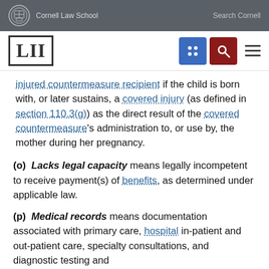Cornell Law School  |  Search Cornell
[Figure (logo): LII Legal Information Institute logo and navigation bar with grid icon and search icon]
injured countermeasure recipient if the child is born with, or later sustains, a covered injury (as defined in section 110.3(g)) as the direct result of the covered countermeasure's administration to, or use by, the mother during her pregnancy.
(o) Lacks legal capacity means legally incompetent to receive payment(s) of benefits, as determined under applicable law.
(p) Medical records means documentation associated with primary care, hospital in-patient and out-patient care, specialty consultations, and diagnostic testing and